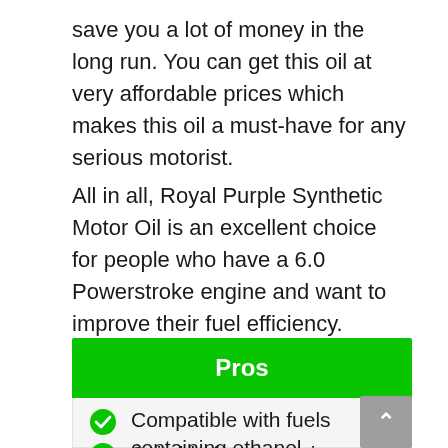save you a lot of money in the long run. You can get this oil at very affordable prices which makes this oil a must-have for any serious motorist.
All in all, Royal Purple Synthetic Motor Oil is an excellent choice for people who have a 6.0 Powerstroke engine and want to improve their fuel efficiency.
Pros
Compatible with fuels containing ethanol
Suitable for expensive catalytic emission